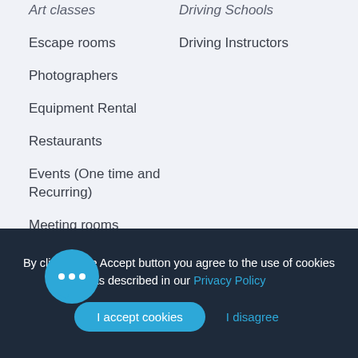Art classes
Driving Schools
Escape rooms
Driving Instructors
Photographers
Equipment Rental
Restaurants
Events (One time and Recurring)
Meeting rooms
Business Events
[Figure (illustration): Chat bubble icon with three dots, indicating a live chat widget]
By clicking the Accept button you agree to the use of cookies as described in our Privacy Policy
I accept cookies | I disagree